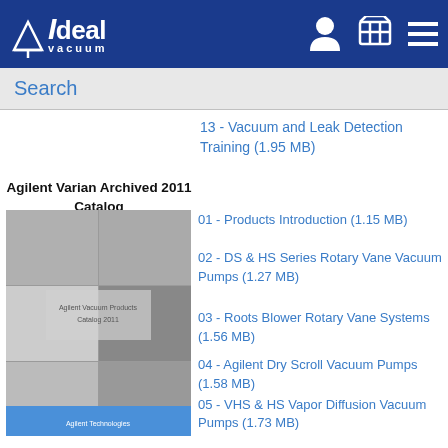Ideal Vacuum
Search
13 - Vacuum and Leak Detection Training (1.95 MB)
Agilent Varian Archived 2011 Catalog
[Figure (photo): Agilent Varian 2011 catalog cover showing various vacuum pump equipment and components]
01 - Products Introduction (1.15 MB)
02 - DS & HS Series Rotary Vane Vacuum Pumps (1.27 MB)
03 - Roots Blower Rotary Vane Systems (1.56 MB)
04 - Agilent Dry Scroll Vacuum Pumps (1.58 MB)
05 - VHS & HS Vapor Diffusion Vacuum Pumps (1.73 MB)
06 - VACION Sputter Ion Vacuum Pumps (1.87 MB)
07 - TURBO-V Turbomolecular…